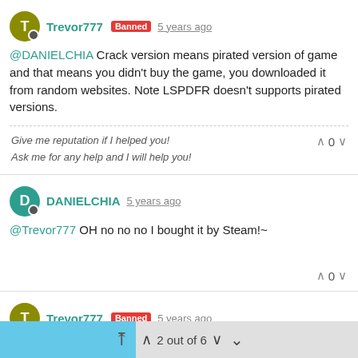Trevor777 [Banned] 5 years ago — @DANIELCHIA Crack version means pirated version of game and that means you didn't buy the game, you downloaded it from random websites. Note LSPDFR doesn't supports pirated versions.
Give me reputation if I helped you!
Ask me for any help and I will help you!
DANIELCHIA 5 years ago — @Trevor777 OH no no no I bought it by Steam!~
Trevor777 [Banned] 5 years ago — @DANIELCHIA Oh okay, If you don't mind, I'm looking for a fix for your problem and it would take some time so can you wait a little bit? Sorry.
Give me reputation if I helped you!
Ask me for any help and I will help you!
2 out of 6